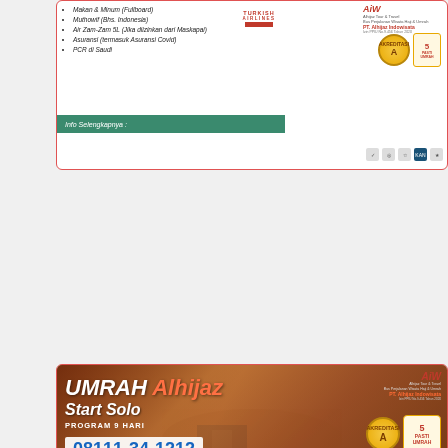[Figure (infographic): Top card: Alhijaz Tour & Travel Umrah advertisement with Turkish Airlines logo, package inclusions list (Makan & Minum Fullboard, Muthowif Bhs. Indonesia, Air Zam-Zam 5L, Asuransi termasuk Asuransi Covid, PCR di Saudi), Info Selengkapnya banner, Akreditasi A gold badge, 5Pasti Umrah badge, AiW PT. Alhijaz Indowisata logo with certification icons]
[Figure (infographic): Bottom card: UMRAH Alhijaz Start Solo advertisement. Program 9 Hari. Phone: 08111-34-1212. Website: alhijaz-indowisata.com. Lion Air Solo-Madinah route. Date: 23 Oktober 2022, Price: 29.200.000. Hotel Madinah: Nozol Royal Inn/Setaraf. Hotel Mekkah: Royal Majestic/Setaraf. Harga Belum Termasuk: Paspor, Suntik Meningitis & Vaksin Covid-19 Dosis Lengkap. Harga Sudah Termasuk: Tiket Pesawat PP ekonomi dari Solo, Visa Umrah, Hotel Mekkah. AiW Alhijaz Indowisata logo, Akreditasi A and 5Pasti Umrah badges.]